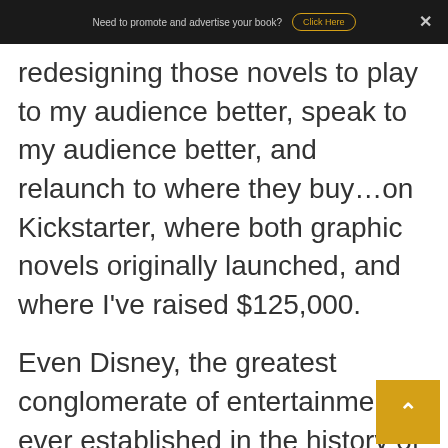Need to promote and advertise your book? Click Here ×
redesigning those novels to play to my audience better, speak to my audience better, and relaunch to where they buy…on Kickstarter, where both graphic novels originally launched, and where I've raised $125,000.
Even Disney, the greatest conglomerate of entertainment ever established in the history of the world, fails much more than they succeed. They just have learned how to mitigate their